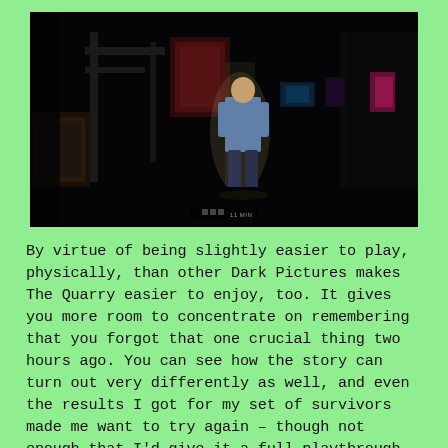[Figure (screenshot): A dark video game screenshot showing a character standing in a dimly lit indoor environment, with some colored lights visible in the background. Small UI elements appear at the bottom center of the image.]
By virtue of being slightly easier to play, physically, than other Dark Pictures makes The Quarry easier to enjoy, too. It gives you more room to concentrate on remembering that you forgot that one crucial thing two hours ago. You can see how the story can turn out very differently as well, and even the results I got for my set of survivors made me want to try again – though not enough that I'd give it a full playthrough, I don't think. There's the